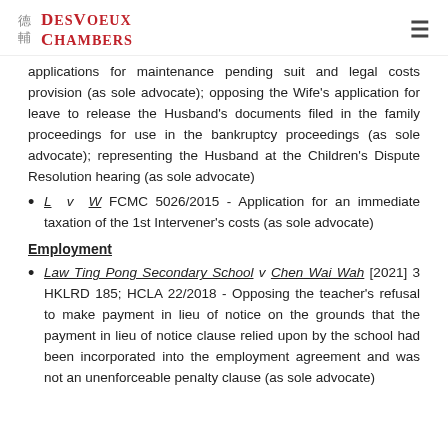Des Voeux Chambers
applications for maintenance pending suit and legal costs provision (as sole advocate); opposing the Wife's application for leave to release the Husband's documents filed in the family proceedings for use in the bankruptcy proceedings (as sole advocate); representing the Husband at the Children's Dispute Resolution hearing (as sole advocate)
L v W FCMC 5026/2015 - Application for an immediate taxation of the 1st Intervener's costs (as sole advocate)
Employment
Law Ting Pong Secondary School v Chen Wai Wah [2021] 3 HKLRD 185; HCLA 22/2018 - Opposing the teacher's refusal to make payment in lieu of notice on the grounds that the payment in lieu of notice clause relied upon by the school had been incorporated into the employment agreement and was not an unenforceable penalty clause (as sole advocate)